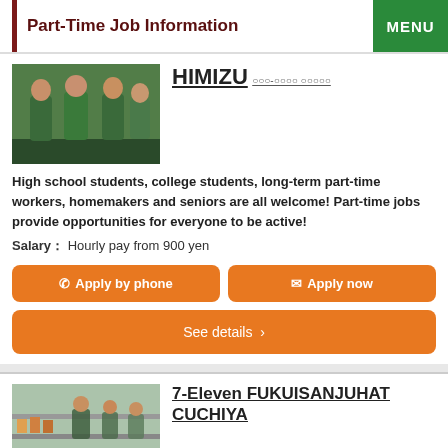Part-Time Job Information | MENU
[Figure (photo): Three employees in green uniforms standing together at a store]
HIMIZU
○○○-○○○○ ○○○○○
High school students, college students, long-term part-time workers, homemakers and seniors are all welcome! Part-time jobs provide opportunities for everyone to be active!
Salary：Hourly pay from 900 yen
Apply by phone
Apply now
See details ›
[Figure (photo): Store interior with employees visible]
7-Eleven FUKUISANJUHATCUCHIYA